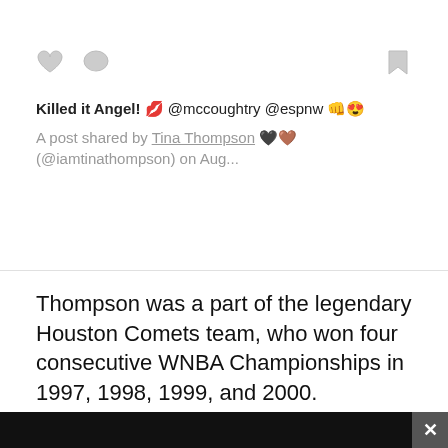Killed it Angel! 💋 @mccoughtry @espnw 👊😍
A post shared by Tina Thompson 🖤🤎 (@iamtinathompson) on Aug...
Thompson was a part of the legendary Houston Comets team, who won four consecutive WNBA Championships in 1997, 1998, 1999, and 2000. Thompson started
We use cookies on our website to give you the most relevant experience by remembering your preferences and repeat visits. By clicking "Accept", you consent to the use of ALL the cookies.